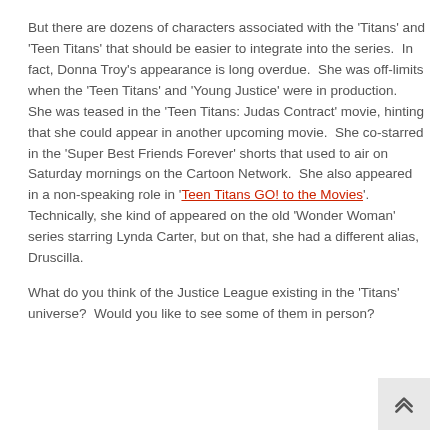But there are dozens of characters associated with the ‘Titans’ and ‘Teen Titans’ that should be easier to integrate into the series.  In fact, Donna Troy’s appearance is long overdue.  She was off-limits when the ‘Teen Titans’ and ‘Young Justice’ were in production.  She was teased in the ‘Teen Titans: Judas Contract’ movie, hinting that she could appear in another upcoming movie.  She co-starred in the ‘Super Best Friends Forever’ shorts that used to air on Saturday mornings on the Cartoon Network.  She also appeared in a non-speaking role in ‘Teen Titans GO! to the Movies’.  Technically, she kind of appeared on the old ‘Wonder Woman’ series starring Lynda Carter, but on that, she had a different alias, Druscilla.
What do you think of the Justice League existing in the ‘Titans’ universe?  Would you like to see some of them in person?